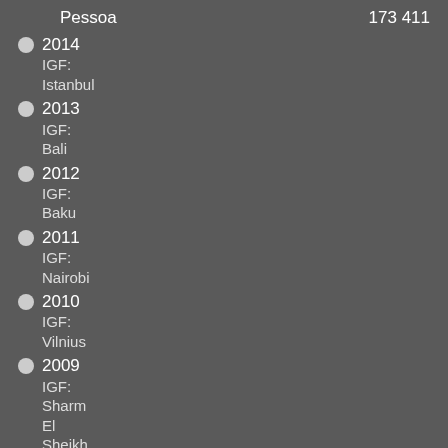Pessoa   173 411
2014 IGF: Istanbul
2013 IGF: Bali
2012 IGF: Baku
2011 IGF: Nairobi
2010 IGF: Vilnius
2009 IGF: Sharm El Sheikh
2008